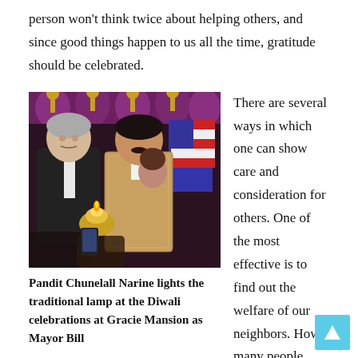person won't think twice about helping others, and since good things happen to us all the time, gratitude should be celebrated.
[Figure (photo): Photo of two men at a Diwali celebration event, one in a suit with red tie (appears to be Mayor Bill de Blasio) and one in traditional Indian attire (Pandit Chunelall Narine), lighting a traditional lamp. Background shows decorative draping and an American flag. Several people visible in the foreground.]
Pandit Chunelall Narine lights the traditional lamp at the Diwali celebrations at Gracie Mansion as Mayor Bill
There are several ways in which one can show care and consideration for others. One of the most effective is to find out the welfare of our neighbors. How many people know their neighbors or care about them? If you are lucky enough to know your neighbor the chances are that you will find a treasure. A number of religions point out that